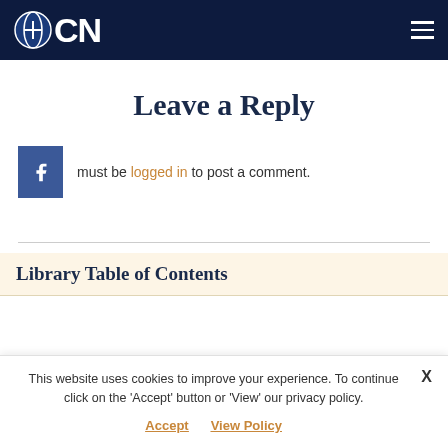OCN
Leave a Reply
must be logged in to post a comment.
Library Table of Contents
This website uses cookies to improve your experience. To continue click on the 'Accept' button or 'View' our privacy policy. Accept  View Policy